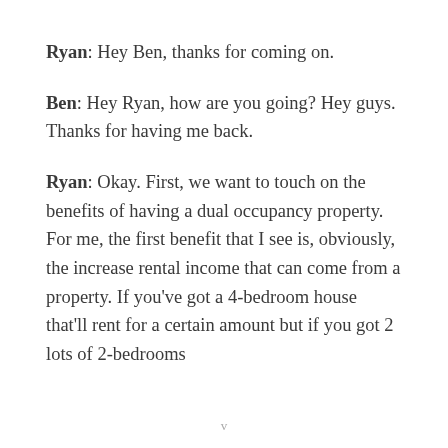Ryan: Hey Ben, thanks for coming on.
Ben: Hey Ryan, how are you going? Hey guys. Thanks for having me back.
Ryan: Okay. First, we want to touch on the benefits of having a dual occupancy property. For me, the first benefit that I see is, obviously, the increase rental income that can come from a property. If you've got a 4-bedroom house that'll rent for a certain amount but if you got 2 lots of 2-bedrooms
v